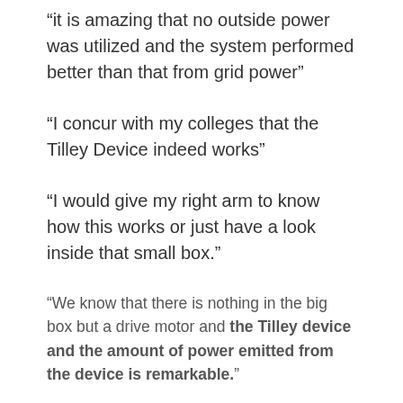“it is amazing that no outside power was utilized and the system performed better than that from grid power”
“I concur with my colleges that the Tilley Device indeed works”
“I would give my right arm to know how this works or just have a look inside that small box.”
“We know that there is nothing in the big box but a drive motor and the Tilley device and the amount of power emitted from the device is remarkable.”
Only recently has this information been suited for release. The Government is restricted from indorsing any commercial product. However the information and